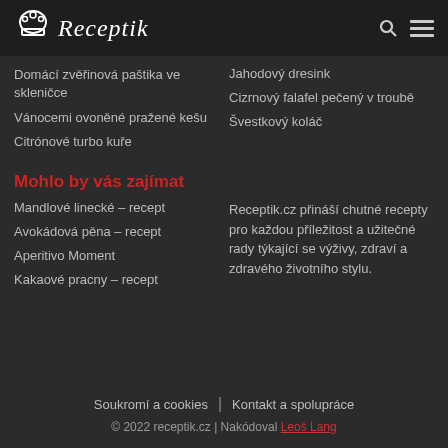Receptik
Domácí zvěřinová paštika ve skleničce
Jahodový dresink
Vánocemi ovoněné pražené kešu
Cizrnový falafel pečený v troubě
Citrónové turbo kuře
Švestkový koláč
Mohlo by vás zajímat
Mandlové linecké – recept
Receptik.cz přináší chutné recepty pro každou příležitost a užitečné rady týkající se výživy, zdraví a zdravého životního stylu.
Avokádová pěna – recept
Aperitivo Moment
Kakaové pracny – recept
Soukromí a cookies | Kontakt a spolupráce
© 2022 receptik.cz | Nakódoval Leoš Lang